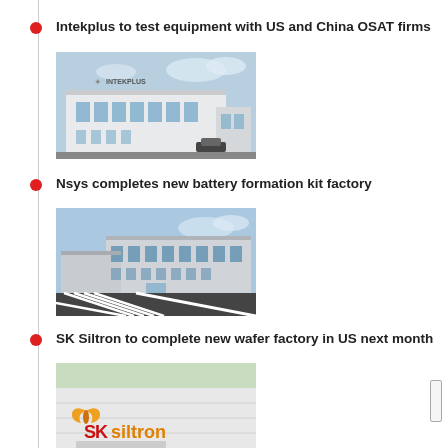Intekplus to test equipment with US and China OSAT firms
[Figure (photo): Exterior photo of Intekplus building, a white modern industrial facility with the INTEKPLUS logo visible on the facade]
Nsys completes new battery formation kit factory
[Figure (photo): Exterior photo of Nsys battery formation kit factory, a large modern industrial complex with dark asphalt parking lot in foreground]
SK Siltron to complete new wafer factory in US next month
[Figure (photo): Photo of SK Siltron facility exterior wall showing the SK Siltron logo with orange butterfly emblem on a white building]